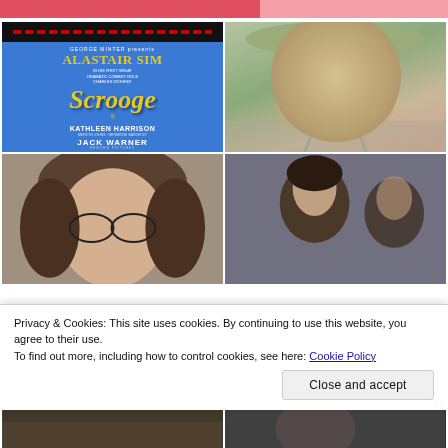[Figure (photo): Red/pink top navigation bar strip]
[Figure (photo): Movie poster for 'Scrooge' featuring Alastair Sim, with classic blue and gold typography, Kathleen Harrison and Jack Warner credits, Renown Pictures]
[Figure (photo): Close-up photo of a woman wearing a wide-brim hat and sunglasses, outdoors]
[Figure (photo): Close-up photo of a man with long brown hair and glasses, looking downward]
[Figure (photo): Photo of a man with dark hair in darker setting]
Privacy & Cookies: This site uses cookies. By continuing to use this website, you agree to their use.
To find out more, including how to control cookies, see here: Cookie Policy
[Figure (photo): Bottom strip left image, partially visible]
[Figure (photo): Bottom strip right image, partially visible]